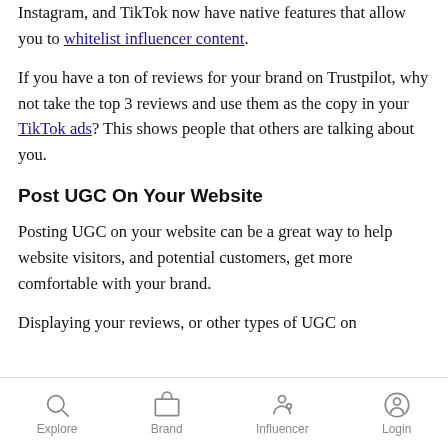Instagram, and TikTok now have native features that allow you to whitelist influencer content.
If you have a ton of reviews for your brand on Trustpilot, why not take the top 3 reviews and use them as the copy in your TikTok ads? This shows people that others are talking about you.
Post UGC On Your Website
Posting UGC on your website can be a great way to help website visitors, and potential customers, get more comfortable with your brand.
Displaying your reviews, or other types of UGC on